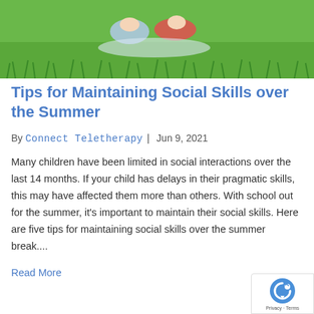[Figure (photo): Children lying on green grass outdoors, partial view from top]
Tips for Maintaining Social Skills over the Summer
By Connect Teletherapy | Jun 9, 2021
Many children have been limited in social interactions over the last 14 months. If your child has delays in their pragmatic skills, this may have affected them more than others. With school out for the summer, it's important to maintain their social skills. Here are five tips for maintaining social skills over the summer break....
Read More